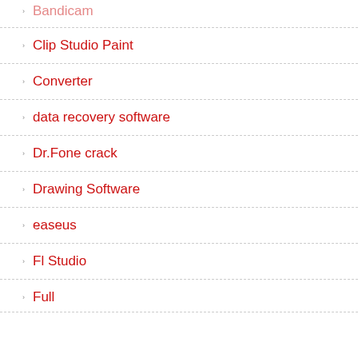Bandicam
Clip Studio Paint
Converter
data recovery software
Dr.Fone crack
Drawing Software
easeus
Fl Studio
Full